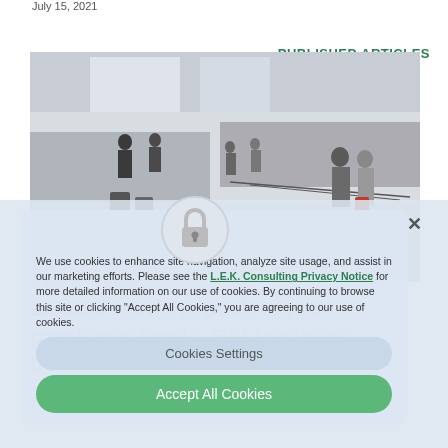July 15, 2021
PUBLISHED ARTICLES
[Figure (photo): Airport terminal interior with travelers and luggage, check-in counters visible in background]
Travel & Transport
Leisure travel is back to pre-pandemic levels. But business travel? Not even close.
July 5, 2021
We use cookies to enhance site navigation, analyze site usage, and assist in our marketing efforts. Please see the L.E.K. Consulting Privacy Notice for more detailed information on our use of cookies. By continuing to browse this site or clicking "Accept All Cookies," you are agreeing to our use of cookies.
Cookies Settings
Accept All Cookies